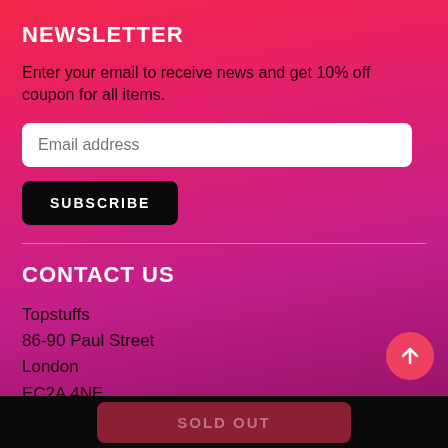NEWSLETTER
Enter your email to receive news and get 10% off coupon for all items.
CONTACT US
Topstuffs
86-90 Paul Street
London
EC2A 4NE
United Kingdom
Email: shop@topstuffs.co.uk